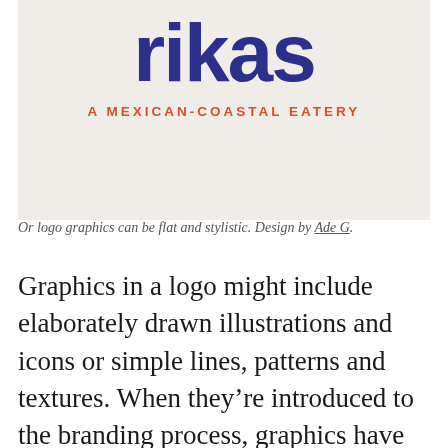[Figure (logo): Rikas - A Mexican-Coastal Eatery logo. Large bold dark blue stylized text 'Rikas' with orange subtitle 'A MEXICAN-COASTAL EATERY' on a beige/cream background.]
Or logo graphics can be flat and stylistic. Design by Ade G.
Graphics in a logo might include elaborately drawn illustrations and icons or simple lines, patterns and textures. When they’re introduced to the branding process, graphics have the potential to be the most dominating force. Think of famous logo icons you associate automatically with a brand, like Apple’s apple or Nike’s swoosh. Good